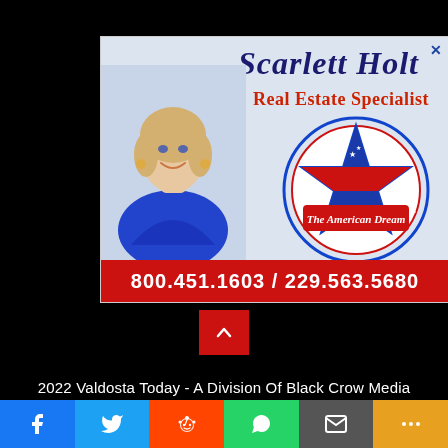[Figure (photo): Advertisement for Scarlett Holt Real Estate Specialist featuring a woman in a blue top, The American Dream logo, and contact phone numbers on a red bar at the bottom: 800.451.1603 / 229.563.5680]
2022 Valdosta Today - A Division Of Black Crow Media
[Figure (infographic): Social media sharing bar with Facebook, Twitter, Reddit, WhatsApp, Email, and More buttons]